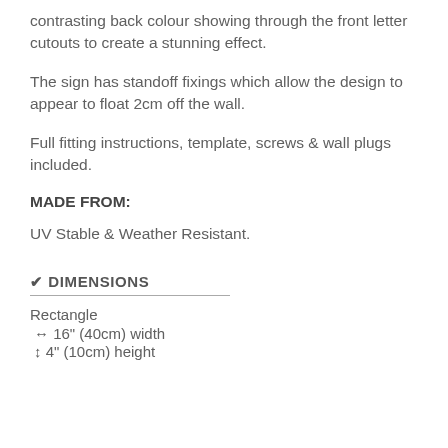contrasting back colour showing through the front letter cutouts to create a stunning effect.
The sign has standoff fixings which allow the design to appear to float 2cm off the wall.
Full fitting instructions, template, screws & wall plugs included.
MADE FROM:
UV Stable & Weather Resistant.
✔ DIMENSIONS
Rectangle
↔ 16" (40cm) width
↕ 4" (10cm) height